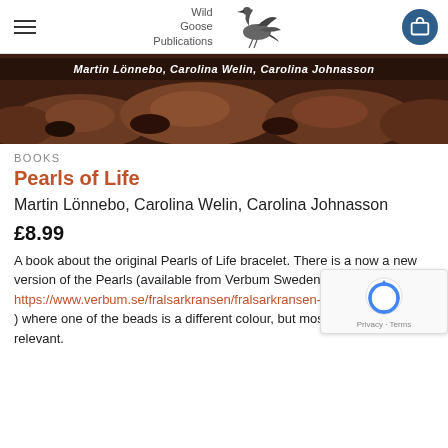Wild Goose Publications
[Figure (photo): Book cover banner image showing dark reddish-brown rocks with text overlay: Martin Lönnebo, Carolina Welin, Carolina Johnasson]
BOOKS
Pearls of Life
Martin Lönnebo, Carolina Welin, Carolina Johnasson
£8.99
A book about the original Pearls of Life bracelet. There is a now a new version of the Pearls (available from Verbum Sweden at: https://www.verbum.se/fralsarkransen/fralsarkransen-av-glas-p52634417 ) where one of the beads is a different colour, but most book is still relevant.